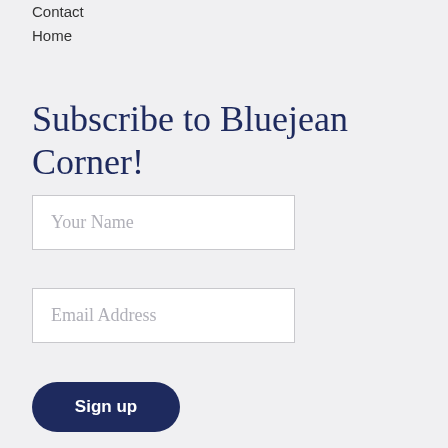Contact
Home
Subscribe to Bluejean Corner!
Your Name
Email Address
Sign up